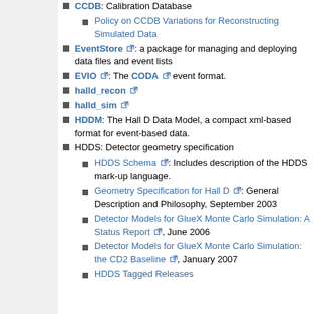CCDB: Calibration Database
Policy on CCDB Variations for Reconstructing Simulated Data
EventStore: a package for managing and deploying data files and event lists
EVIO: The CODA event format.
halld_recon
halld_sim
HDDM: The Hall D Data Model, a compact xml-based format for event-based data.
HDDS: Detector geometry specification
HDDS Schema: Includes description of the HDDS mark-up language.
Geometry Specification for Hall D: General Description and Philosophy, September 2003
Detector Models for GlueX Monte Carlo Simulation: A Status Report, June 2006
Detector Models for GlueX Monte Carlo Simulation: the CD2 Baseline, January 2007
HDDS Tagged Releases